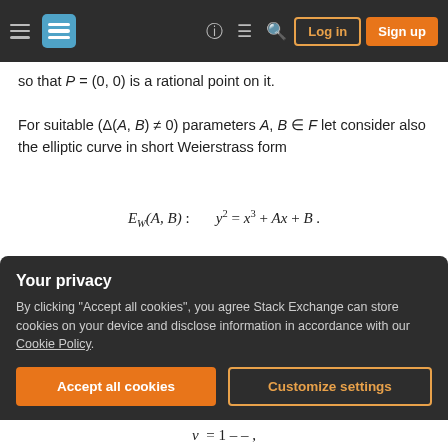Stack Exchange navigation bar with hamburger menu, logo, help icon, chat icon, search icon, Log in button, Sign up button
so that P = (0, 0) is a rational point on it.
For suitable (Δ(A, B) ≠ 0) parameters A, B ∈ F let consider also the elliptic curve in short Weierstrass form
Fix u, v în F, u ≠ 1, so that the pair (u, v) corresponds to a point on the moduli space X₁(18) parametrized as mentioned above, i.e. it satisfies
Your privacy
By clicking "Accept all cookies", you agree Stack Exchange can store cookies on your device and disclose information in accordance with our Cookie Policy.